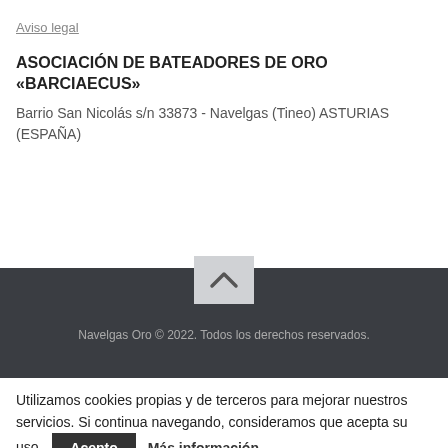Aviso legal
ASOCIACIÓN DE BATEADORES DE ORO «BARCIAECUS»
Barrio San Nicolás s/n 33873 - Navelgas (Tineo) ASTURIAS (ESPAÑA)
Navelgas Oro © 2022. Todos los derechos reservados.
Utilizamos cookies propias y de terceros para mejorar nuestros servicios. Si continua navegando, consideramos que acepta su uso.
Acepto
Más información